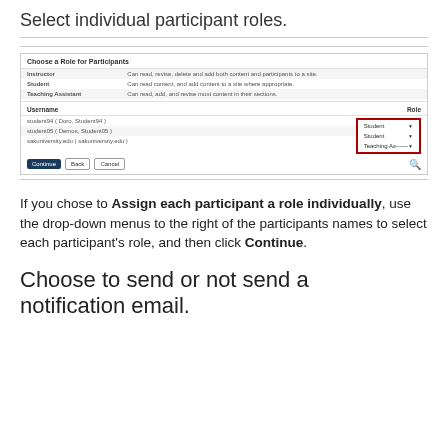Select individual participant roles.
[Figure (screenshot): Screenshot of 'Choose a Role for Participants' interface showing a table with roles (Instructor, Student, Teaching Assistant) and their descriptions, followed by a user list with drop-down role selectors highlighted in a red border showing Student, Student, Teaching Assistant roles. Buttons: Continue (dark), Back, Cancel.]
If you chose to Assign each participant a role individually, use the drop-down menus to the right of the participants names to select each participant's role, and then click Continue.
Choose to send or not send a notification email.